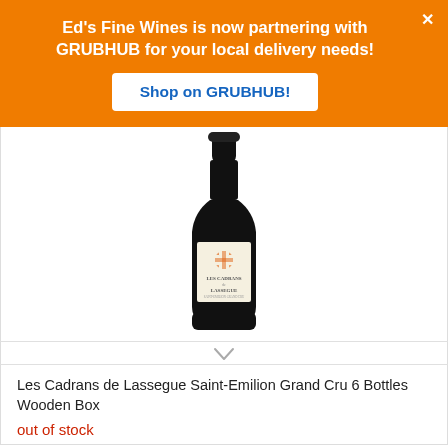Ed's Fine Wines is now partnering with GRUBHUB for your local delivery needs!
Shop on GRUBHUB!
[Figure (photo): A bottle of Les Cadrans de Lassegue Saint-Emilion Grand Cru red wine with a cream-colored label featuring a decorative floral/cross motif in red and orange, against a white background.]
Les Cadrans de Lassegue Saint-Emilion Grand Cru 6 Bottles Wooden Box
out of stock